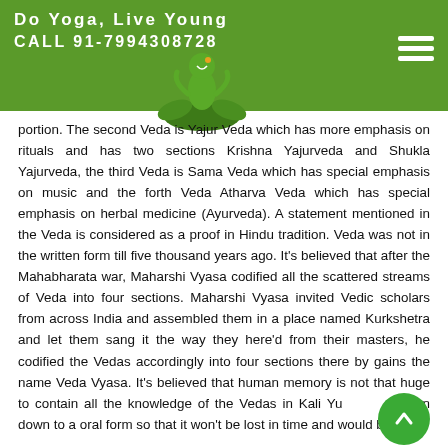Do Yoga, Live Young
CALL 91-7994308728
portion. The second Veda is Yajur Veda which has more emphasis on rituals and has two sections Krishna Yajurveda and Shukla Yajurveda, the third Veda is Sama Veda which has special emphasis on music and the forth Veda Atharva Veda which has special emphasis on herbal medicine (Ayurveda). A statement mentioned in the Veda is considered as a proof in Hindu tradition. Veda was not in the written form till five thousand years ago. It's believed that after the Mahabharata war, Maharshi Vyasa codified all the scattered streams of Veda into four sections. Maharshi Vyasa invited Vedic scholars from across India and assembled them in a place named Kurkshetra and let them sang it the way they here'd from their masters, he codified the Vedas accordingly into four sections there by gains the name Veda Vyasa. It's believed that human memory is not that huge to contain all the knowledge of the Vedas in Kali Yuga, so he pen down to a oral form so that it won't be lost in time and would be